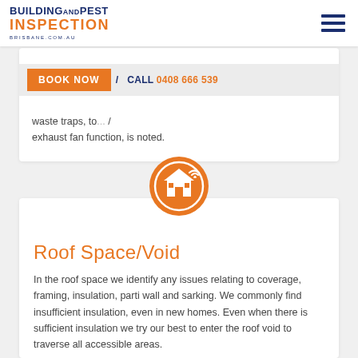[Figure (logo): Building and Pest Inspection Brisbane logo with orange and navy text]
BOOK NOW   CALL 0408 666 539
waste traps, to... exhaust fan function, is noted.
[Figure (illustration): Orange circle icon with house/roof symbol]
Roof Space/Void
In the roof space we identify any issues relating to coverage, framing, insulation, parti wall and sarking. We commonly find insufficient insulation, even in new homes. Even when there is sufficient insulation we try our best to enter the roof void to traverse all accessible areas.